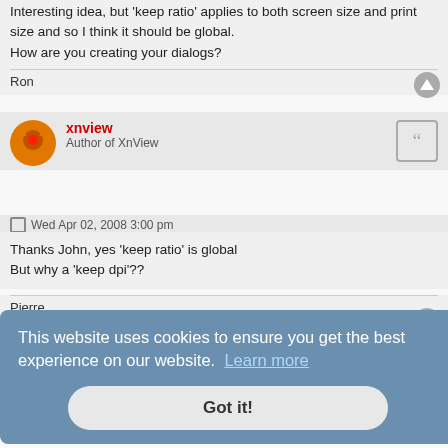Interesting idea, but 'keep ratio' applies to both screen size and print size and so I think it should be global.
How are you creating your dialogs?
Ron
xnview
Author of XnView
Wed Apr 02, 2008 3:00 pm
Thanks John, yes 'keep ratio' is global
But why a 'keep dpi'??
Pierre.
JohnFredC
Wed Apr 02, 2008 4:54 pm
This website uses cookies to ensure you get the best experience on our website. Learn more
Got it!